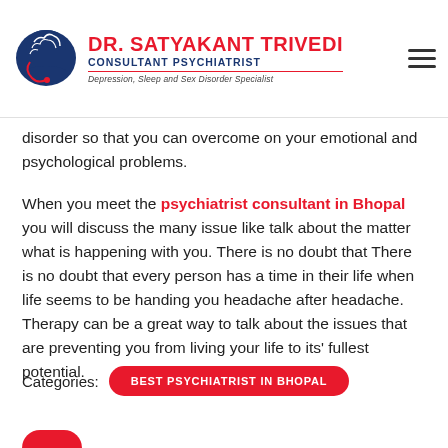DR. SATYAKANT TRIVEDI | CONSULTANT PSYCHIATRIST | Depression, Sleep and Sex Disorder Specialist
disorder so that you can overcome on your emotional and psychological problems.
When you meet the psychiatrist consultant in Bhopal you will discuss the many issue like talk about the matter what is happening with you. There is no doubt that There is no doubt that every person has a time in their life when life seems to be handing you headache after headache. Therapy can be a great way to talk about the issues that are preventing you from living your life to its’ fullest potential.
Categories:
BEST PSYCHIATRIST IN BHOPAL